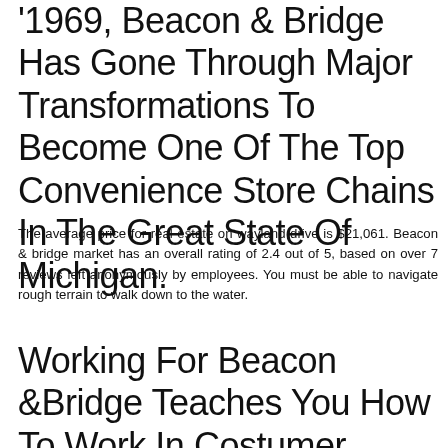'1969, Beacon & Bridge Has Gone Through Major Transformations To Become One Of The Top Convenience Store Chains In The Great State Of Michigan.
The average price for real estate on wayland drive is $21,061. Beacon & bridge market has an overall rating of 2.4 out of 5, based on over 7 reviews left anonymously by employees. You must be able to navigate rough terrain to walk down to the water.
Working For Beacon &Bridge Teaches You How To Work In Costumer Service With All Different